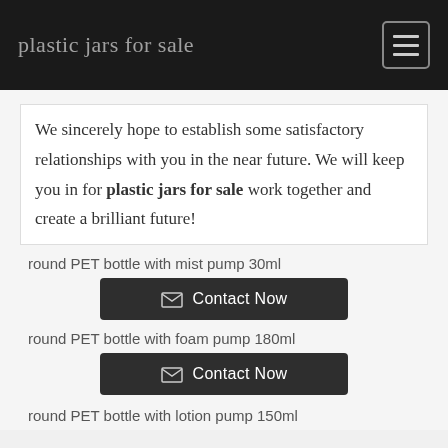plastic jars for sale
We sincerely hope to establish some satisfactory relationships with you in the near future. We will keep you in for plastic jars for sale work together and create a brilliant future!
round PET bottle with mist pump 30ml
Contact Now
round PET bottle with foam pump 180ml
Contact Now
round PET bottle with lotion pump 150ml